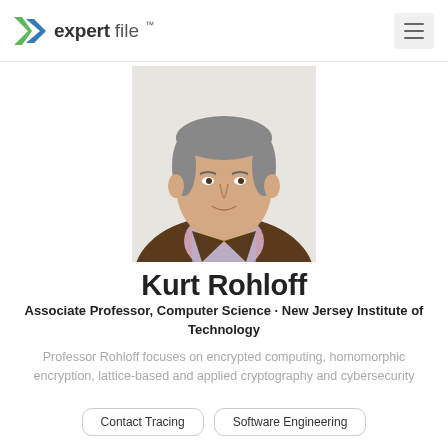expertfile
[Figure (photo): Headshot photo of Kurt Rohloff, a man wearing a brown blazer and plaid shirt, against a white background]
Kurt Rohloff
Associate Professor, Computer Science · New Jersey Institute of Technology
Professor Rohloff focuses on encrypted computing, homomorphic encryption, lattice-based and applied cryptography and cybersecurity
Contact Tracing
Software Engineering